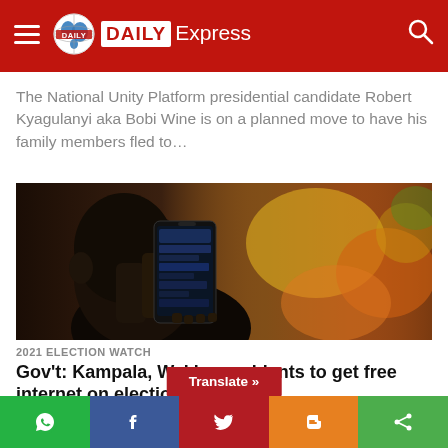Daily Express
The National Unity Platform presidential candidate Robert Kyagulanyi aka Bobi Wine is on a planned move to have his family members fled to…
[Figure (photo): Person holding a smartphone, viewed from behind, with a market background]
2021 ELECTION WATCH
Gov't: Kampala, Wakiso residents to get free internet on election day
KAMPALA: The Government has promised to provide free
WhatsApp | Facebook | Translate » | Blogger | Share